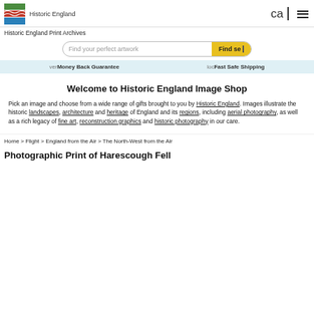Historic England | cal | menu
Historic England Print Archives
Find your perfect artwork | Find search
verifiedMoney Back Guarantee   lockedFast Safe Shipping
Welcome to Historic England Image Shop
Pick an image and choose from a wide range of gifts brought to you by Historic England. Images illustrate the historic landscapes, architecture and heritage of England and its regions, including aerial photography, as well as a rich legacy of fine art, reconstruction graphics and historic photography in our care.
Home > Flight > England from the Air > The North-West from the Air
Photographic Print of Harescough Fell